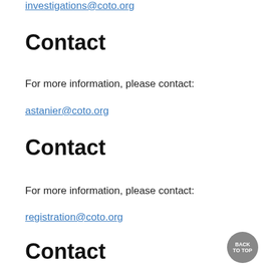investigations@coto.org
Contact
For more information, please contact:
astanier@coto.org
Contact
For more information, please contact:
registration@coto.org
Contact